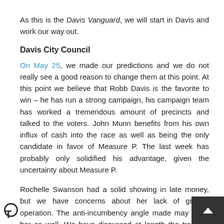As this is the Davis Vanguard, we will start in Davis and work our way out.
Davis City Council
On May 25, we made our predictions and we do not really see a good reason to change them at this point. At this point we believe that Robb Davis is the favorite to win – he has run a strong campaign, his campaign team has worked a tremendous amount of precincts and talked to the voters. John Munn benefits from his own influx of cash into the race as well as being the only candidate in favor of Measure P. The last week has probably only solidified his advantage, given the uncertainty about Measure P.
Rochelle Swanson had a solid showing in late money, but we have concerns about her lack of ground operation. The anti-incumbency angle made may harm her as well. We have discussed at length the troubles that Sheila Allen has had in the last two months, punctuated by the remarkably low $3600 in donations since March 18. Daniel Parrella ran a strong race, and may well pick up a substantial portion of second votes.